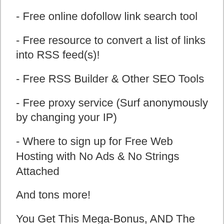- Free online dofollow link search tool
- Free resource to convert a list of links into RSS feed(s)!
- Free RSS Builder & Other SEO Tools
- Free proxy service (Surf anonymously by changing your IP)
- Where to sign up for Free Web Hosting with No Ads & No Strings Attached
And tons more!
You Get This Mega-Bonus, AND The Entire PayPal Crusher System For Just